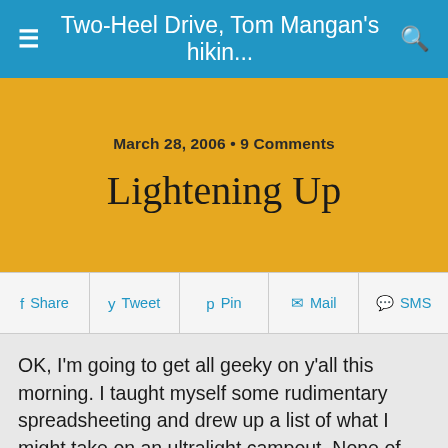Two-Heel Drive, Tom Mangan's hikin...
March 28, 2006 • 9 Comments
Lightening Up
Share  Tweet  Pin  Mail  SMS
OK, I'm going to get all geeky on y'all this morning. I taught myself some rudimentary spreadsheeting and drew up a list of what I might take on an ultralight campout. None of this has actually been tried because I'm a complete rookie at this stuff, but the gear is there and should work provided the temperature remains above, say, 35 degrees. For now I want to go